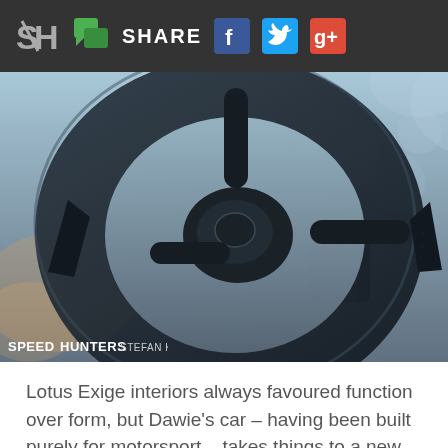SH SHARE [Facebook] [Twitter] [Google+]
[Figure (photo): Close-up photo of a Lotus Exige racing car steering wheel and dashboard interior, showing the carbon fibre steering wheel, gear shift paddles, and buttons. Image credited to SPEEDHUNTERS / STEFAN KOTZE.]
SPEEDHUNTERS STEFAN KOTZE
Lotus Exige interiors always favoured function over form, but Dawie's car – having been built purely for motorsport – takes things to a new level of minimalism. There's a custom cage, a lone Tillett carbon fibre race seat with SCHROTH Racing harness, a carbon